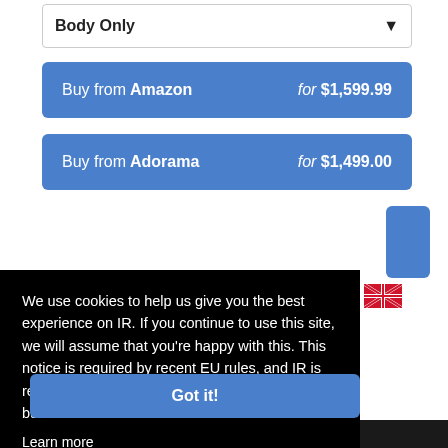Body Only
Buy from Amazon for $1,599.99
Buy from Adorama for $1,499.00
We use cookies to help us give you the best experience on IR. If you continue to use this site, we will assume that you're happy with this. This notice is required by recent EU rules, and IR is read globally, so we need to keep the bureaucrats off our case!
Learn more
Got it!